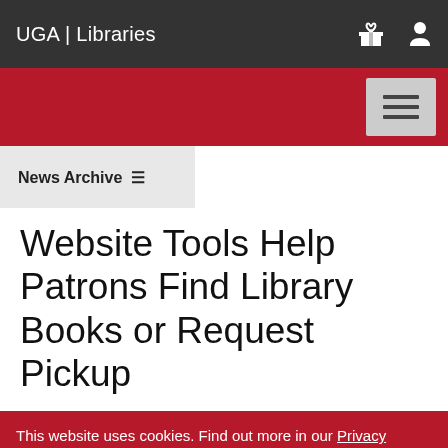UGA | Libraries
Website Tools Help Patrons Find Library Books or Request Pickup
This website uses cookies. Find out more in our Privacy Notice. If you have any questions about the Privacy Notice, please contact infosec@uga.edu.